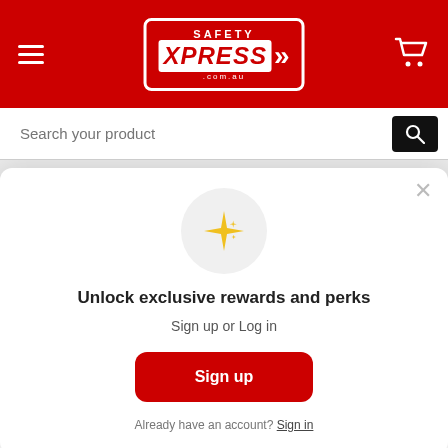[Figure (screenshot): Safety Xpress website header with red background, hamburger menu icon on left, Safety Xpress logo in center, shopping cart icon on right]
[Figure (screenshot): Search bar with placeholder text 'Search your product' and black search button on right]
SHIPPING & RETURNS
[Figure (screenshot): Modal popup with sparkle emoji icon, heading 'Unlock exclusive rewards and perks', subtext 'Sign up or Log in', red Sign up button, and footer text 'Already have an account? Sign in']
Unlock exclusive rewards and perks
Sign up or Log in
Sign up
Already have an account? Sign in